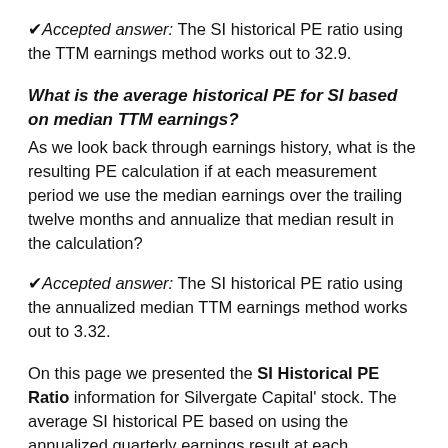✔Accepted answer: The SI historical PE ratio using the TTM earnings method works out to 32.9.
What is the average historical PE for SI based on median TTM earnings?
As we look back through earnings history, what is the resulting PE calculation if at each measurement period we use the median earnings over the trailing twelve months and annualize that median result in the calculation?
✔Accepted answer: The SI historical PE ratio using the annualized median TTM earnings method works out to 3.32.
On this page we presented the SI Historical PE Ratio information for Silvergate Capital' stock. The average SI historical PE based on using the annualized quarterly earnings result at each measurement period (for the "E" in the PE calculation; and the closing price on earnings